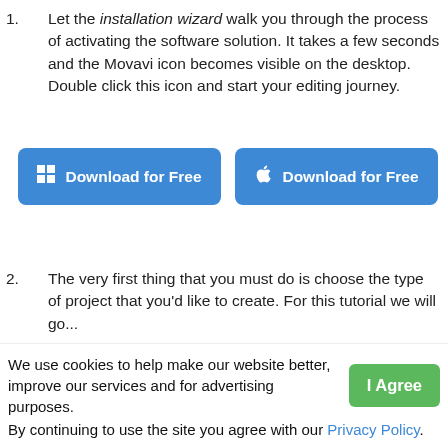Let the installation wizard walk you through the process of activating the software solution. It takes a few seconds and the Movavi icon becomes visible on the desktop. Double click this icon and start your editing journey.
[Figure (other): Two blue 'Download for Free' buttons side by side — one with a Windows logo icon and one with an Apple logo icon.]
The very first thing that you must do is choose the type of project that you'd like to create. For this tutorial we will go...
We use cookies to help make our website better, improve our services and for advertising purposes.
By continuing to use the site you agree with our Privacy Policy.